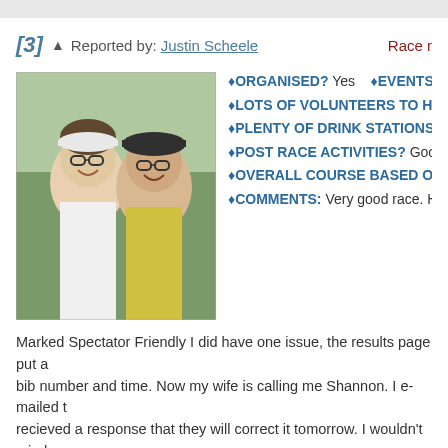[3]  Reported by: Justin Scheele    Race r
[Figure (photo): Profile photo of two people smiling, wearing athletic gear and visors]
ORGANISED? Yes   EVENTS ON TIME? Yes
LOTS OF VOLUNTEERS TO HELP? Yes
PLENTY OF DRINK STATIONS? Yes
POST RACE ACTIVITIES? Good
OVERALL COURSE BASED ON MY ABILITY: Just rig
COMMENTS: Very good race. Highlights: Volunteers
Marked Spectator Friendly I did have one issue, the results page put a bib number and time. Now my wife is calling me Shannon. I e-mailed t recieved a response that they will correct it tomorrow. I wouldn't mind again.
[4]  Reported by: tri-dg    Race r